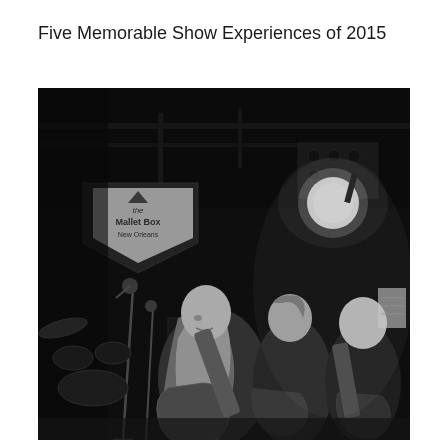Five Memorable Show Experiences of 2015
[Figure (photo): Black and white photo of a live band performance on stage. A female guitarist with long hair playing guitar in the foreground, another guitarist behind her, and a bald male guitarist on the right. Stage lighting visible in background with a venue banner visible on the left.]